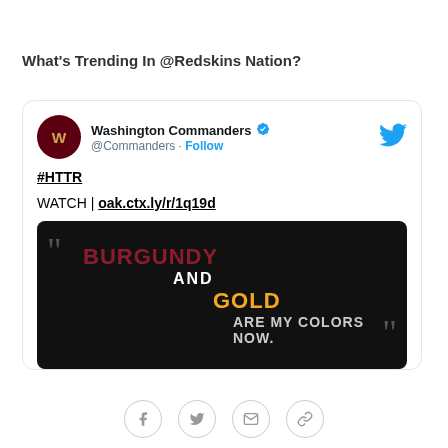What's Trending In @Redskins Nation?
[Figure (screenshot): Tweet from Washington Commanders (@Commanders) with verified badge and Follow button. Tweet text reads '#HTTR' and 'WATCH | oak.ctx.ly/r/1q19d'. Embedded image shows dark background with text: BURGUNDY AND GOLD ARE MY COLORS NOW.]
[Figure (other): Share bar with Facebook, Twitter, email, and link icons]